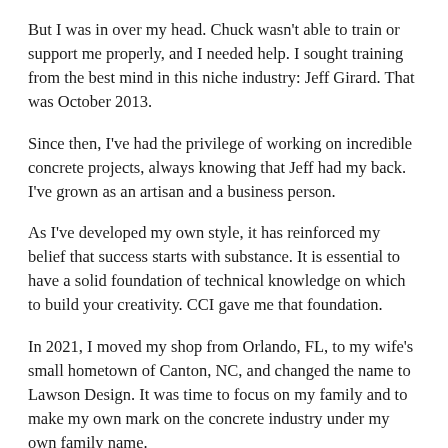But I was in over my head. Chuck wasn't able to train or support me properly, and I needed help. I sought training from the best mind in this niche industry: Jeff Girard. That was October 2013.
Since then, I've had the privilege of working on incredible concrete projects, always knowing that Jeff had my back. I've grown as an artisan and a business person.
As I've developed my own style, it has reinforced my belief that success starts with substance. It is essential to have a solid foundation of technical knowledge on which to build your creativity. CCI gave me that foundation.
In 2021, I moved my shop from Orlando, FL, to my wife's small hometown of Canton, NC, and changed the name to Lawson Design. It was time to focus on my family and to make my own mark on the concrete industry under my own family name.
I've come to consider Jeff a friend as well as a mentor. I'm honored to teach alongside him and to give others the opportunity to build their success, like I did, creating with